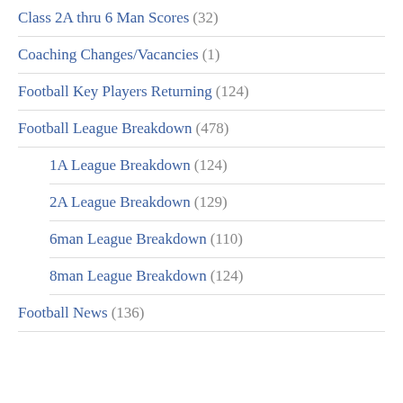Class 2A thru 6 Man Scores (32)
Coaching Changes/Vacancies (1)
Football Key Players Returning (124)
Football League Breakdown (478)
1A League Breakdown (124)
2A League Breakdown (129)
6man League Breakdown (110)
8man League Breakdown (124)
Football News (136)